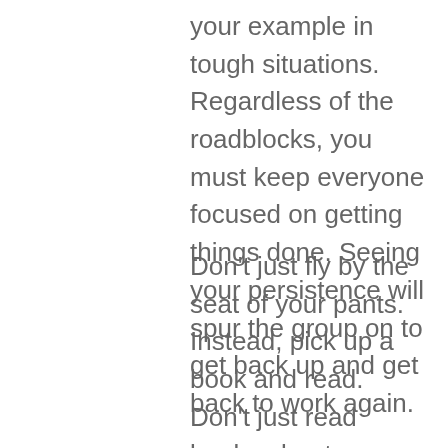your example in tough situations. Regardless of the roadblocks, you must keep everyone focused on getting things done. Seeing your persistence will spur the group on to get back up and get back to work again.
Don't just fly by the seat of your pants. Instead, pick up a book and read. Don't just read books about business leadership, either. You may find useful bits of knowledge that can be applied to your role as business leader in many different types of books, even those that tell